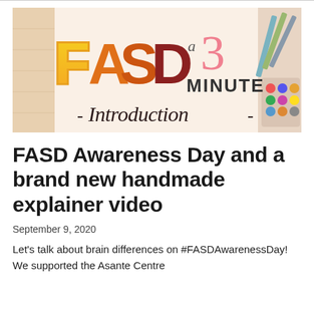[Figure (illustration): Illustrated banner showing 'FASD A 3 MINUTE Introduction' in colorful hand-lettered text on a peach/wood background, with art supplies visible in the top right corner. FASD letters are in yellow/orange gradient, '3' is in pink, 'MINUTE' and 'Introduction' in dark/black brush lettering.]
FASD Awareness Day and a brand new handmade explainer video
September 9, 2020
Let's talk about brain differences on #FASDAwarenessDay! We supported the Asante Centre